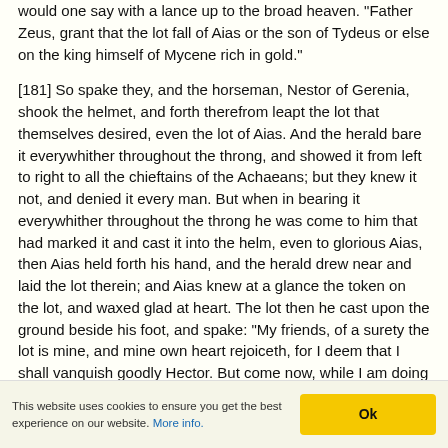would one say with a lance up to the broad heaven. "Father Zeus, grant that the lot fall of Aias or the son of Tydeus or else on the king himself of Mycene rich in gold."
[181] So spake they, and the horseman, Nestor of Gerenia, shook the helmet, and forth therefrom leapt the lot that themselves desired, even the lot of Aias. And the herald bare it everywhither throughout the throng, and showed it from left to right to all the chieftains of the Achaeans; but they knew it not, and denied it every man. But when in bearing it everywhither throughout the throng he was come to him that had marked it and cast it into the helm, even to glorious Aias, then Aias held forth his hand, and the herald drew near and laid the lot therein; and Aias knew at a glance the token on the lot, and waxed glad at heart. The lot then he cast upon the ground beside his foot, and spake: "My friends, of a surety the lot is mine, and mine own heart rejoiceth, for I deem that I shall vanquish goodly Hector. But come now, while I am doing on me my battle gear, make ye prayer the while to king Zeus, son of Cronos, in silence by yourselves, that the Trojans learn naught thereof—nay, or openly, if ye will, since in any case we fear no man. For by force shall no man drive me in flight of his
This website uses cookies to ensure you get the best experience on our website. More info.